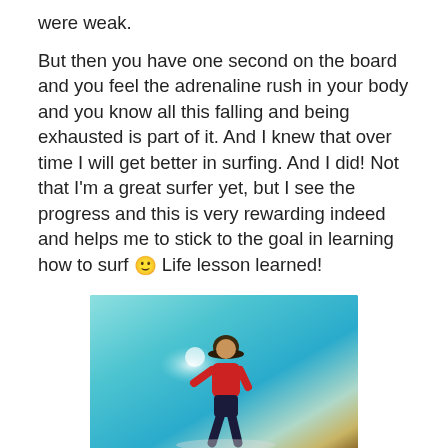were weak.

But then you have one second on the board and you feel the adrenaline rush in your body and you know all this falling and being exhausted is part of it. And I knew that over time I will get better in surfing. And I did! Not that I'm a great surfer yet, but I see the progress and this is very rewarding indeed and helps me to stick to the goal in learning how to surf 🙂 Life lesson learned!
[Figure (photo): Underwater or low-angle photo of a person in a red wetsuit and hat, appearing to surf or jump, with bright turquoise water/sky background.]